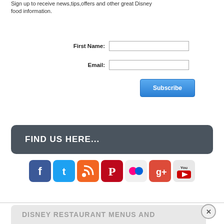Sign up to receive news,tips,offers and other great Disney food information.
First Name:
Email:
[Figure (other): Subscribe button with blue gradient background]
FIND US HERE...
[Figure (other): Row of social media icons: Facebook, Twitter, RSS, Pinterest, Flickr, Google+, YouTube]
DISNEY RESTAURANT MENUS AND